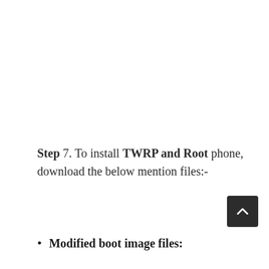Step 7. To install TWRP and Root phone, download the below mention files:-
Modified boot image files: